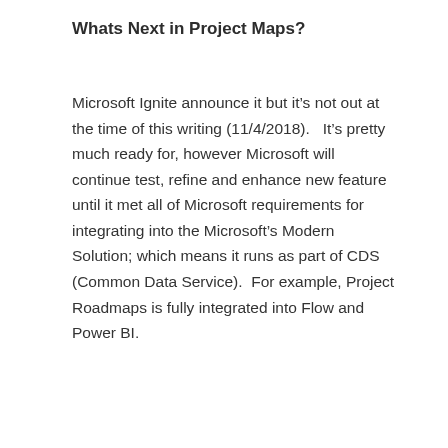Whats Next in Project Maps?
Microsoft Ignite announce it but it's not out at the time of this writing (11/4/2018).   It's pretty much ready for, however Microsoft will continue test, refine and enhance new feature until it met all of Microsoft requirements for integrating into the Microsoft's Modern Solution; which means it runs as part of CDS (Common Data Service).  For example, Project Roadmaps is fully integrated into Flow and Power BI.